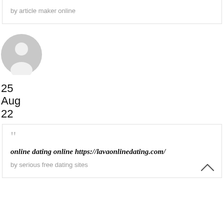by article maker online
[Figure (illustration): Gray default user avatar icon (circle with person silhouette)]
25
Aug
22
online dating online https://lavaonlinedating.com/
by serious free dating sites